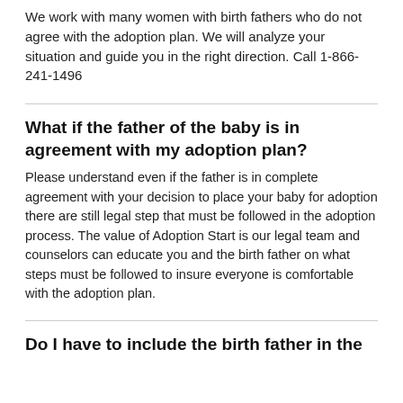We work with many women with birth fathers who do not agree with the adoption plan. We will analyze your situation and guide you in the right direction. Call 1-866-241-1496
What if the father of the baby is in agreement with my adoption plan?
Please understand even if the father is in complete agreement with your decision to place your baby for adoption there are still legal step that must be followed in the adoption process. The value of Adoption Start is our legal team and counselors can educate you and the birth father on what steps must be followed to insure everyone is comfortable with the adoption plan.
Do I have to include the birth father in the